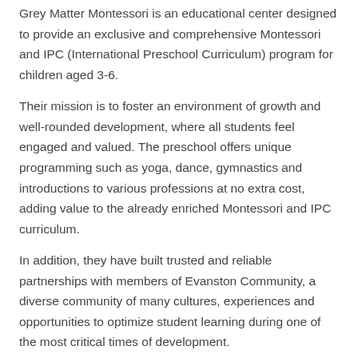Grey Matter Montessori is an educational center designed to provide an exclusive and comprehensive Montessori and IPC (International Preschool Curriculum) program for children aged 3-6.
Their mission is to foster an environment of growth and well-rounded development, where all students feel engaged and valued. The preschool offers unique programming such as yoga, dance, gymnastics and introductions to various professions at no extra cost, adding value to the already enriched Montessori and IPC curriculum.
In addition, they have built trusted and reliable partnerships with members of Evanston Community, a diverse community of many cultures, experiences and opportunities to optimize student learning during one of the most critical times of development.